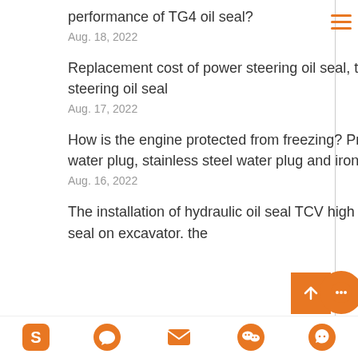performance of TG4 oil seal?
Aug. 18, 2022
Replacement cost of power steering oil seal, types of steering oil seal
Aug. 17, 2022
How is the engine protected from freezing? Price of brass water plug, stainless steel water plug and iron freeze plug?
Aug. 16, 2022
The installation of hydraulic oil seal TCV high pressure oil seal on excavator. the